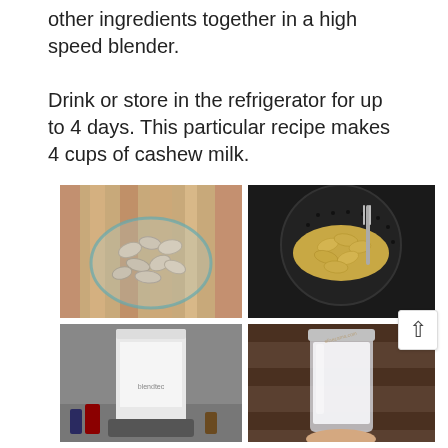other ingredients together in a high speed blender.

Drink or store in the refrigerator for up to 4 days. This particular recipe makes 4 cups of cashew milk.
[Figure (photo): Cashews soaking in a glass bowl on a wooden surface]
[Figure (photo): Cashews being rinsed in a dark colander/strainer with a fork or utensil]
[Figure (photo): Blendtec blender on a countertop with milk and other ingredients]
[Figure (photo): A mason jar filled with white cashew milk being held by a hand]